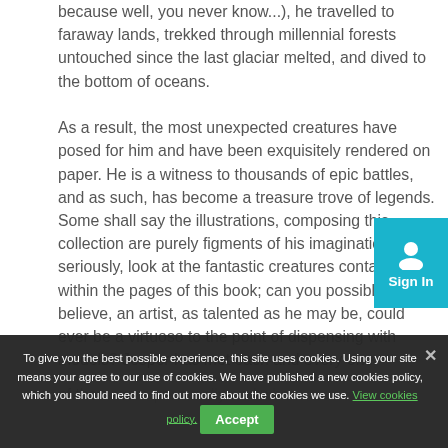because well, you never know...), he travelled to faraway lands, trekked through millennial forests untouched since the last glaciar melted, and dived to the bottom of oceans.

As a result, the most unexpected creatures have posed for him and have been exquisitely rendered on paper. He is a witness to thousands of epic battles, and as such, has become a treasure trove of legends. Some shall say the illustrations, composing this collection are purely figments of his imagination. But seriously, look at the fantastic creatures contained within the pages of this book; can you possible believe, an artist, as talented as he may be, could ever be a virtuoso to the point of dispensing with models? Jesper has met each and every one
[Figure (other): Sign In button with user icon, teal/cyan background]
of them personally and...
To give you the best possible experience, this site uses cookies. Using your site means your agree to our use of cookies. We have published a new cookies policy, which you should need to find out more about the cookies we use. View cookies policy. Accept